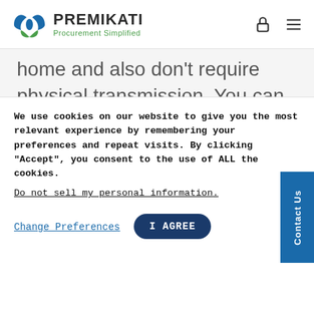PREMIKATI Procurement Simplified
home and also don't require physical transmission. You can send a digital gift card from Amazon to anyone's email. Instacart also just launched their gift card options, and who
Contact Us
We use cookies on our website to give you the most relevant experience by remembering your preferences and repeat visits. By clicking "Accept", you consent to the use of ALL the cookies.
Do not sell my personal information.
Change Preferences
I AGREE